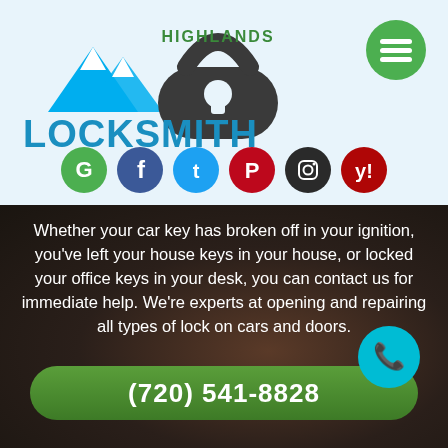[Figure (logo): Highlands Locksmith logo with mountain peaks and a lock/key icon]
[Figure (other): Green hamburger menu button (three horizontal lines)]
[Figure (other): Social media icons row: Google (green), Facebook (dark blue), Twitter (light blue), Pinterest (red), Instagram (black), Yelp (red)]
Whether your car key has broken off in your ignition, you've left your house keys in your house, or locked your office keys in your desk, you can contact us for immediate help. We're experts at opening and repairing all types of lock on cars and doors.
[Figure (other): Cyan/teal floating phone call button]
(720) 541-8828